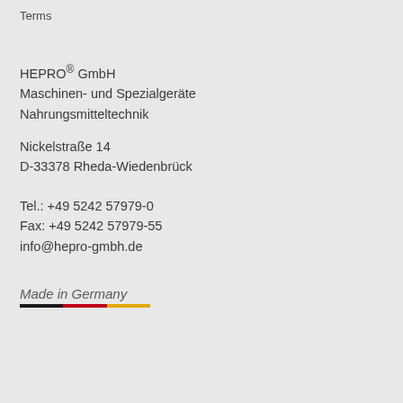Terms
HEPRO® GmbH
Maschinen- und Spezialgeräte
Nahrungsmitteltechnik
Nickelstraße 14
D-33378 Rheda-Wiedenbrück
Tel.: +49 5242 57979-0
Fax: +49 5242 57979-55
info@hepro-gmbh.de
Made in Germany